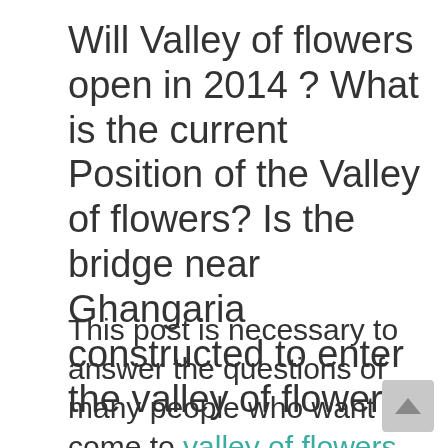Will Valley of flowers open in 2014 ? What is the current Position of the Valley of flowers? Is the bridge near Ghangaria constructed to enter the valley of flowers?
This post is necessary to answer the questions of many people who want to come to valley of flowers in 2014 but saw a post on Times of India. This post stated that the Valley of Flowers may not open in 2014 at all. This is very unfortunate that one of the leading news paper is writing this type